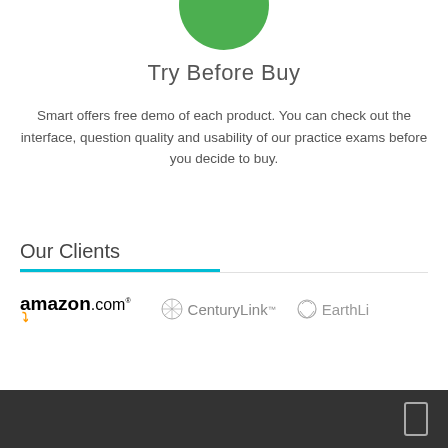[Figure (illustration): Green circle partially visible at top of page]
Try Before Buy
Smart offers free demo of each product. You can check out the interface, question quality and usability of our practice exams before you decide to buy.
Our Clients
[Figure (logo): Amazon.com logo, CenturyLink logo, and EarthLink logo displayed in a row]